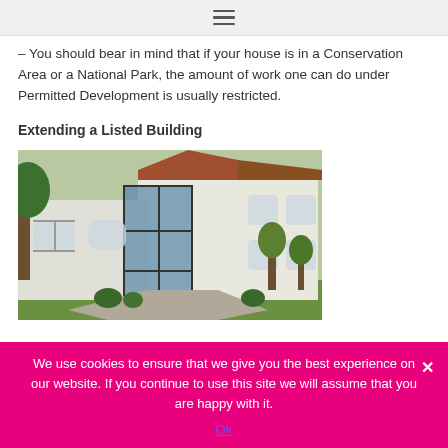≡
– You should bear in mind that if your house is in a Conservation Area or a National Park, the amount of work one can do under Permitted Development is usually restricted.
Extending a Listed Building
[Figure (photo): Photograph of a white rendered house extension with large glass and dark metal frame windows/doors attached to a traditional white building with brick accents and a tiled roof. Green trees visible in background.]
We use cookies to ensure that we give you the best experience on our website. If you continue to use this site we will assume that you are happy with it.
Ok